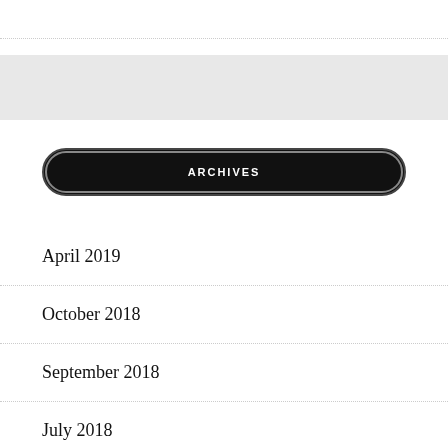ARCHIVES
April 2019
October 2018
September 2018
July 2018